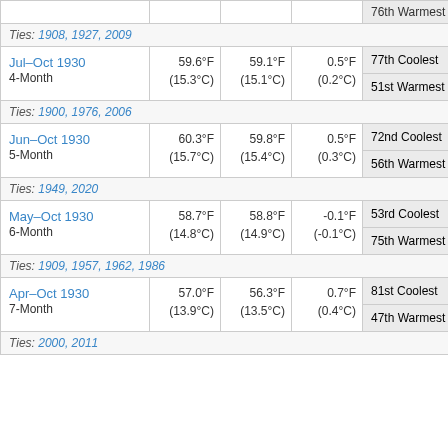| Period | Actual | Avg | Dep | Rank |  |
| --- | --- | --- | --- | --- | --- |
|  |  |  |  | 76th Warmest | W |
| Ties: 1908, 1927, 2009 |  |  |  |  |  |
| Jul–Oct 1930 4-Month | 59.6°F (15.3°C) | 59.1°F (15.1°C) | 0.5°F (0.2°C) | 77th Coolest | Co |
|  |  |  |  | 51st Warmest | W |
| Ties: 1900, 1976, 2006 |  |  |  |  |  |
| Jun–Oct 1930 5-Month | 60.3°F (15.7°C) | 59.8°F (15.4°C) | 0.5°F (0.3°C) | 72nd Coolest | Co |
|  |  |  |  | 56th Warmest | W |
| Ties: 1949, 2020 |  |  |  |  |  |
| May–Oct 1930 6-Month | 58.7°F (14.8°C) | 58.8°F (14.9°C) | -0.1°F (-0.1°C) | 53rd Coolest | Co |
|  |  |  |  | 75th Warmest | W |
| Ties: 1909, 1957, 1962, 1986 |  |  |  |  |  |
| Apr–Oct 1930 7-Month | 57.0°F (13.9°C) | 56.3°F (13.5°C) | 0.7°F (0.4°C) | 81st Coolest | Co |
|  |  |  |  | 47th Warmest | W |
| Ties: 2000, 2011 |  |  |  |  |  |